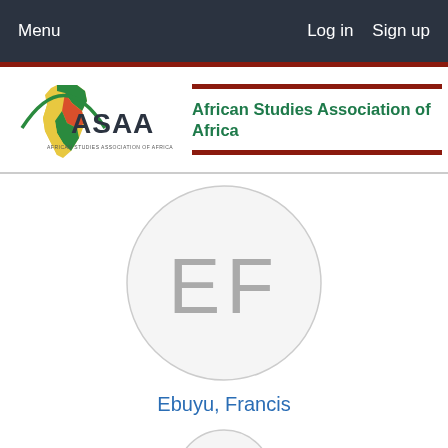Menu    Log in   Sign up
[Figure (logo): ASAA – African Studies Association of Africa logo with colorful Africa map and green arc]
African Studies Association of Africa
[Figure (illustration): Circular avatar placeholder with initials EF in grey on light grey background]
Ebuyu, Francis
[Figure (illustration): Partially visible circular avatar placeholder at bottom of page]